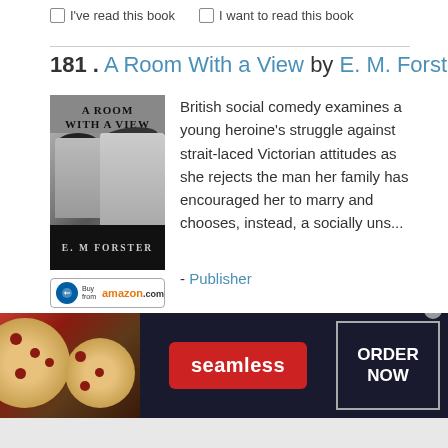☐ I've read this book   ☐ I want to read this book
181 . A Room With a View by E. M. Forster
[Figure (photo): Book cover of 'A Room With a View' by E. M. Forster, showing a black and white photo of two people in Victorian attire, with the author name E. M. Forster at the bottom]
[Figure (other): Buy from amazon.com button]
British social comedy examines a young heroine's struggle against strait-laced Victorian attitudes as she rejects the man her family has encouraged her to marry and chooses, instead, a socially uns...
- Publisher
☐ I've read this book   ☐ I want to read this book
[Figure (other): Seamless food delivery advertisement banner with pizza images on the left, Seamless logo in the center, and 'ORDER NOW' button on the right]